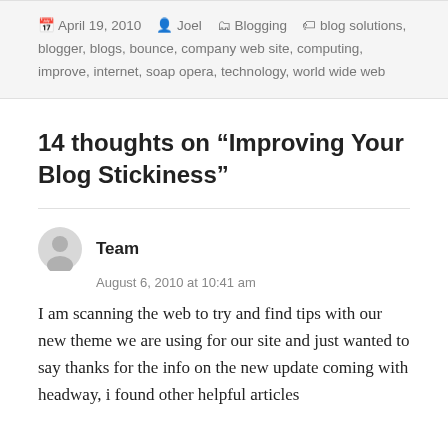April 19, 2010   Joel   Blogging   blog solutions, blogger, blogs, bounce, company web site, computing, improve, internet, soap opera, technology, world wide web
14 thoughts on “Improving Your Blog Stickiness”
Team
August 6, 2010 at 10:41 am
I am scanning the web to try and find tips with our new theme we are using for our site and just wanted to say thanks for the info on the new update coming with headway, i found other helpful articles